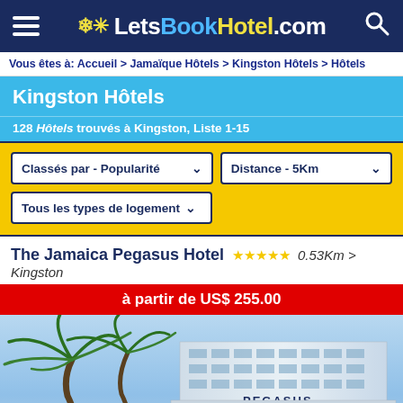LetsBookHotel.com
Vous êtes à: Accueil > Jamaïque Hôtels > Kingston Hôtels > Hôtels
Kingston Hôtels
128 Hôtels trouvés à Kingston, Liste 1-15
Classés par - Popularité
Distance - 5Km
Tous les types de logement
The Jamaica Pegasus Hotel ★★★★★ 0.53Km > Kingston
à partir de US$ 255.00
[Figure (photo): Exterior photo of The Jamaica Pegasus Hotel building with palm trees against a blue sky]